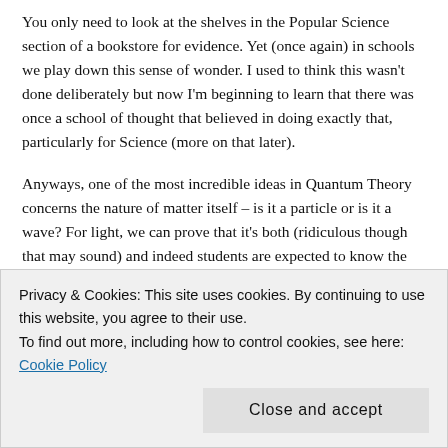You only need to look at the shelves in the Popular Science section of a bookstore for evidence. Yet (once again) in schools we play down this sense of wonder. I used to think this wasn't done deliberately but now I'm beginning to learn that there was once a school of thought that believed in doing exactly that, particularly for Science (more on that later).
Anyways, one of the most incredible ideas in Quantum Theory concerns the nature of matter itself – is it a particle or is it a wave? For light, we can prove that it's both (ridiculous though that may sound) and indeed students are expected to know the demonstrations which verify both. There is however no suggestion anywhere in either the textbooks (that I have come across) or in the syllabus that there is anything slightly disturbing in this. There was a single question on the
Privacy & Cookies: This site uses cookies. By continuing to use this website, you agree to their use.
To find out more, including how to control cookies, see here: Cookie Policy